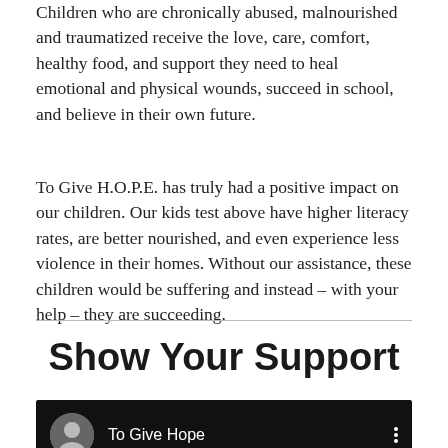Children who are chronically abused, malnourished and traumatized receive the love, care, comfort, healthy food, and support they need to heal emotional and physical wounds, succeed in school, and believe in their own future.
To Give H.O.P.E. has truly had a positive impact on our children. Our kids test above have higher literacy rates, are better nourished, and even experience less violence in their homes. Without our assistance, these children would be suffering and instead – with your help – they are succeeding.
Show Your Support
[Figure (screenshot): Video thumbnail showing 'To Give Hope' with avatar image on dark background and vertical three-dot menu icon]